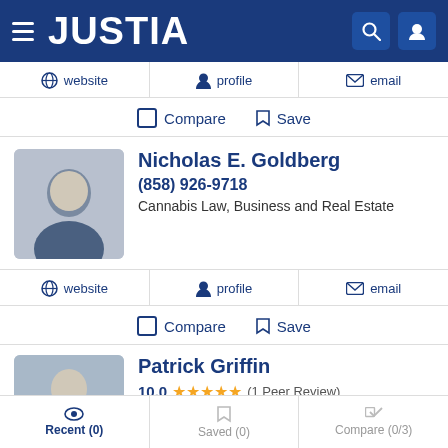JUSTIA
website  profile  email
Compare  Save
Nicholas E. Goldberg
(858) 926-9718
Cannabis Law, Business and Real Estate
website  profile  email
Compare  Save
Patrick Griffin
10.0 ★★★★★ (1 Peer Review)
Recent (0)  Saved (0)  Compare (0/3)